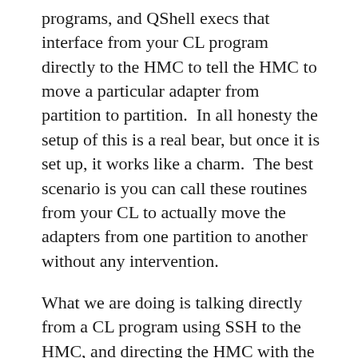programs, and QShell execs that interface from your CL program directly to the HMC to tell the HMC to move a particular adapter from partition to partition.  In all honesty the setup of this is a real bear, but once it is set up, it works like a charm.  The best scenario is you can call these routines from your CL to actually move the adapters from one partition to another without any intervention.
What we are doing is talking directly from a CL program using SSH to the HMC, and directing the HMC with the CHHWRES command to move adapters from one partition to another.
This has reduced the need for a few of our customers to purchase multiple tape drives, and multiple adapters.  Send John an email at